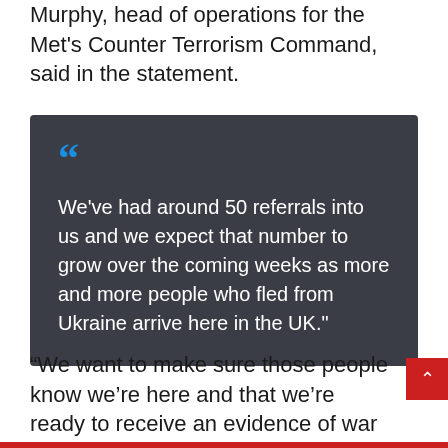Murphy, head of operations for the Met's Counter Terrorism Command, said in the statement.
[Figure (other): Dark grey quote box with blue quotation mark icon and white text quote: We've had around 50 referrals into us and we expect that number to grow over the coming weeks as more and more people who fled from Ukraine arrive here in the UK.]
“We want to make sure those people know we’re here and that we’re ready to receive any evidence of war crimes from them, as well as provide them with the support and help that